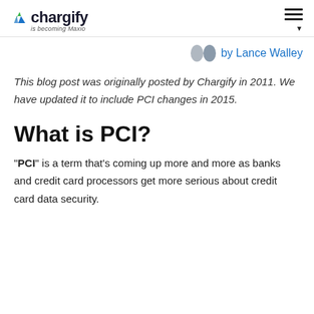chargify is becoming Maxio
by Lance Walley
This blog post was originally posted by Chargify in 2011. We have updated it to include PCI changes in 2015.
What is PCI?
"PCI" is a term that's coming up more and more as banks and credit card processors get more serious about credit card data security.